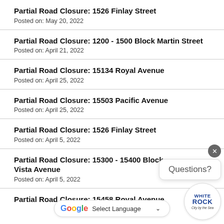Partial Road Closure: 1526 Finlay Street
Posted on: May 20, 2022
Partial Road Closure: 1200 - 1500 Block Martin Street
Posted on: April 21, 2022
Partial Road Closure: 15134 Royal Avenue
Posted on: April 25, 2022
Partial Road Closure: 15503 Pacific Avenue
Posted on: April 25, 2022
Partial Road Closure: 1526 Finlay Street
Posted on: April 5, 2022
Partial Road Closure: 15300 - 15400 Block ... Vista Avenue
Posted on: April 5, 2022
Partial Road Closure: 15458 Royal Avenue